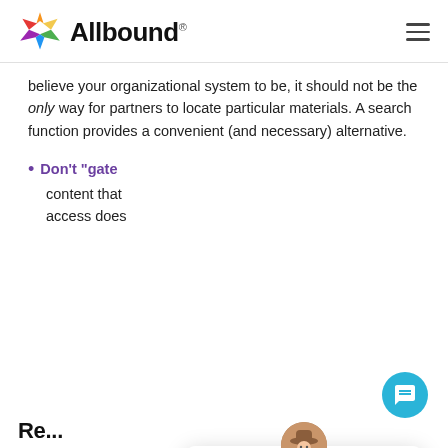Allbound
believe your organizational system to be, it should not be the only way for partners to locate particular materials. A search function provides a convenient (and necessary) alternative.
Don't “gate” — content that ... access does ...
[Figure (screenshot): Chat popup widget with avatar and message: Hi there 👋 Want to chat about Allbound?]
Re...